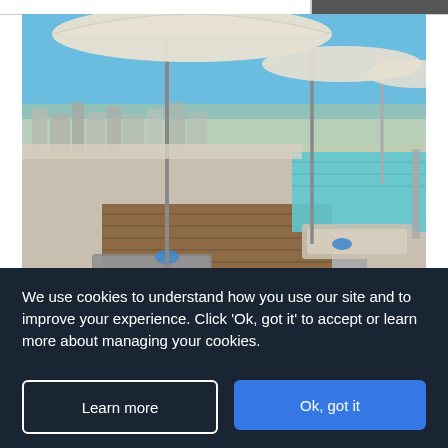[Figure (photo): Rooftop pool area of a hotel in Barcelona with sun loungers, umbrellas, and a city skyline view in the background. Watermark reads 'Jet2CityBreaks'.]
Hotel Barcelona Condal Mar Affiliated by Melia
Barcelona, Barcelona
4 stars, TripAdvisor rating: 4 out of 5 circles
We use cookies to understand how you use our site and to improve your experience. Click 'Ok, got it' to accept or learn more about managing your cookies.
Learn more
Ok, got it